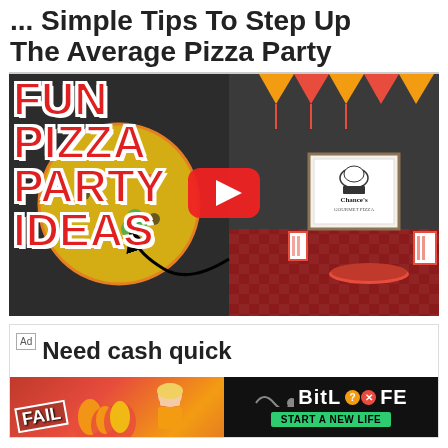... Simple Tips To Step Up The Average Pizza Party
[Figure (screenshot): YouTube video thumbnail showing a pizza party setup with festive decorations, bunting, and table settings. Red overlay text reads 'FUN PIZZA PARTY IDEAS'. A YouTube play button is visible in the center. An arrow annotation points to a framed sign reading 'Chance's Gourmet Pizza'.]
[Figure (screenshot): Advertisement banner. Top portion shows 'Ad' label with text 'Need cash quick'. Bottom portion shows a BitLife mobile game advertisement with 'FAIL' text, flame graphics, animated character, and 'START A NEW LIFE' button with BitLife logo and question/X icons.]